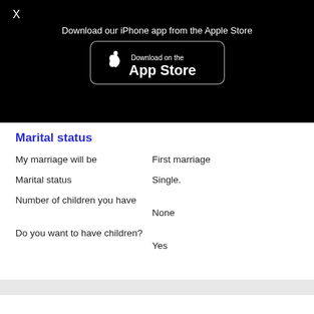[Figure (screenshot): Black modal overlay with X close button, text 'Download our iPhone app from the Apple Store', and an App Store download badge button]
Marital status
My marriage will be	First marriage
Marital status	Single.
Number of children you have	None
Do you want to have children?	Yes